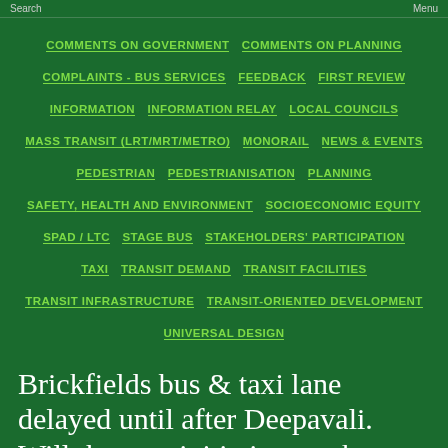Search | Menu
COMMENTS ON GOVERNMENT
COMMENTS ON PLANNING
COMPLAINTS - BUS SERVICES
FEEDBACK
FIRST REVIEW
INFORMATION
INFORMATION RELAY
LOCAL COUNCILS
MASS TRANSIT (LRT/MRT/METRO)
MONORAIL
NEWS & EVENTS
PEDESTRIAN
PEDESTRIANISATION
PLANNING
SAFETY, HEALTH AND ENVIRONMENT
SOCIOECONOMIC EQUITY
SPAD / LTC
STAGE BUS
STAKEHOLDERS' PARTICIPATION
TAXI
TRANSIT DEMAND
TRANSIT FACILITIES
TRANSIT INFRASTRUCTURE
TRANSIT-ORIENTED DEVELOPMENT
UNIVERSAL DESIGN
Brickfields bus & taxi lane delayed until after Deepavali. Will the new initiatives make a